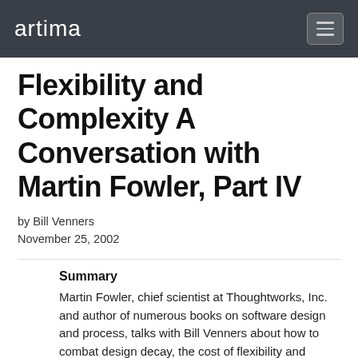artima
Flexibility and Complexity A Conversation with Martin Fowler, Part IV
by Bill Venners
November 25, 2002
Summary
Martin Fowler, chief scientist at Thoughtworks, Inc. and author of numerous books on software design and process, talks with Bill Venners about how to combat design decay, the cost of flexibility and reusability, four criteria for a simple system, and test-first design of interfaces.
Over the last decade, Martin Fowler pioneered many software development techniques in the development of